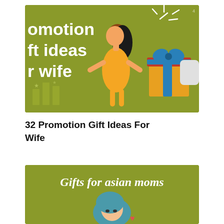[Figure (illustration): Illustration on olive/yellow-green background showing partial text 'omotion ft ideas r wife' on the left side in white bold font, a woman in an orange dress with dark hair in the center, and a person handing a wrapped gift box (orange/red with blue bow) on the right. Decorative sparkle lines at top right and stylized candle shapes at bottom left.]
32 Promotion Gift Ideas For Wife
[Figure (illustration): Illustration on olive/yellow-green background with text 'Gifts for asian moms' in white italic font at the top-center, and a woman with teal/blue hair visible at the bottom center of the image, with a small red heart shape.]